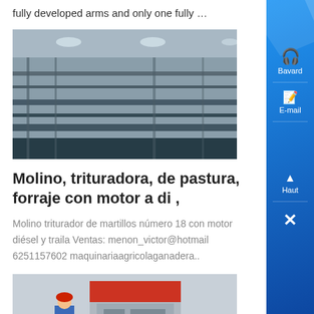fully developed arms and only one fully …
[Figure (photo): Industrial conveyor or processing facility interior with metal structures and ceiling lights]
Molino, trituradora, de pastura, forraje con motor a di ,
Molino triturador de martillos número 18 con motor diésel y traila Ventas: menon_victor@hotmail 6251157602 maquinariaagricolaganadera..
[Figure (photo): Worker in blue overalls and red helmet standing next to large industrial machinery (red and grey)]